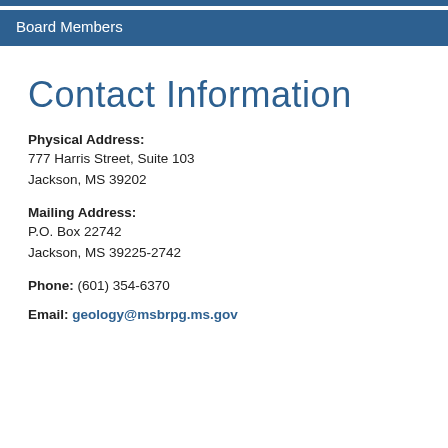Board Members
Contact Information
Physical Address:
777 Harris Street, Suite 103
Jackson, MS 39202
Mailing Address:
P.O. Box 22742
Jackson, MS 39225-2742
Phone: (601) 354-6370
Email: geology@msbrpg.ms.gov